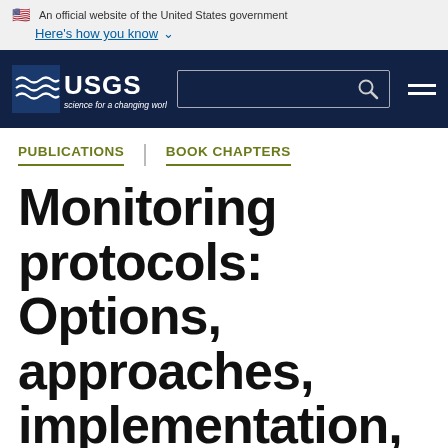An official website of the United States government Here's how you know
[Figure (logo): USGS logo with navigation bar including search field and hamburger menu on dark navy background]
PUBLICATIONS | BOOK CHAPTERS
Monitoring protocols: Options, approaches, implementation, benefits